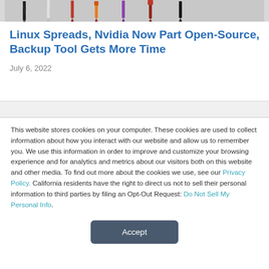[Figure (photo): Row of colored pencils/pens against a light background, partially cropped at top of page]
Linux Spreads, Nvidia Now Part Open-Source, Backup Tool Gets More Time
July 6, 2022
This website stores cookies on your computer. These cookies are used to collect information about how you interact with our website and allow us to remember you. We use this information in order to improve and customize your browsing experience and for analytics and metrics about our visitors both on this website and other media. To find out more about the cookies we use, see our Privacy Policy. California residents have the right to direct us not to sell their personal information to third parties by filing an Opt-Out Request: Do Not Sell My Personal Info.
Accept